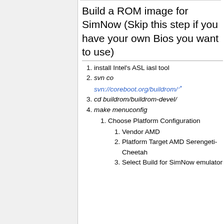Build a ROM image for SimNow (Skip this step if you have your own Bios you want to use)
install Intel's ASL iasl tool
svn co svn://coreboot.org/buildrom/
cd buildrom/buildrom-devel/
make menuconfig
Choose Platform Configuration
Vendor AMD
Platform Target AMD Serengeti-Cheetah
Select Build for SimNow emulator